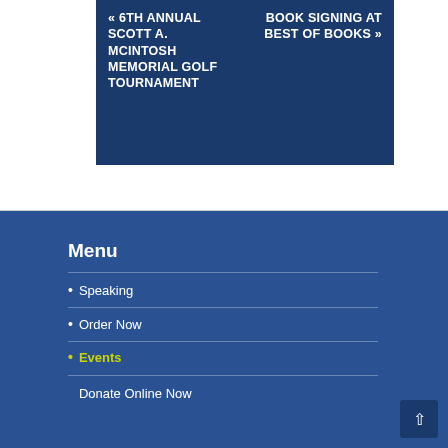« 6TH ANNUAL SCOTT A. MCINTOSH MEMORIAL GOLF TOURNAMENT
BOOK SIGNING AT BEST OF BOOKS »
Menu
Speaking
Order Now
Events
Donate Online Now